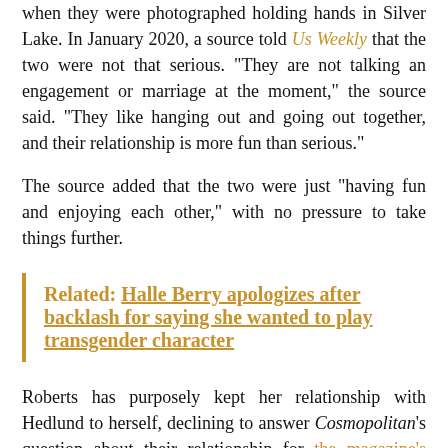when they were photographed holding hands in Silver Lake. In January 2020, a source told Us Weekly that the two were not that serious. “They are not talking an engagement or marriage at the moment,” the source said. “They like hanging out and going out together, and their relationship is more fun than serious.”
The source added that the two were just “havingfun and enjoying each other,” with no pressure to take things further.
Related: Halle Berry apologizes after backlash for saying she wanted to play transgender character
Roberts has purposely kept her relationship with Hedlund to herself, declining to answer Cosmopolitan’s question about their relationship for the magazine’s May 2019 cover story. She did, however, open up about how she feels